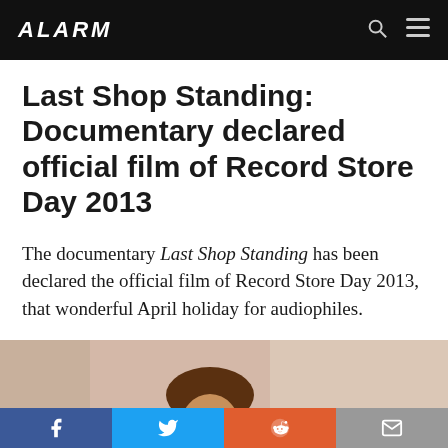ALARM
Last Shop Standing: Documentary declared official film of Record Store Day 2013
The documentary Last Shop Standing has been declared the official film of Record Store Day 2013, that wonderful April holiday for audiophiles.
[Figure (photo): Partial photo of a person, cropped at top]
Social share buttons: Facebook, Twitter, Reddit, Email